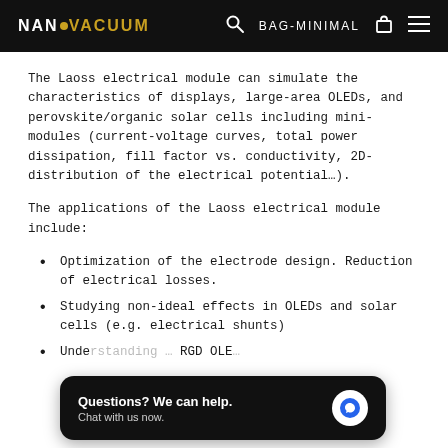NANO VACUUM   BAG-MINIMAL
The Laoss electrical module can simulate the characteristics of displays, large-area OLEDs, and perovskite/organic solar cells including mini-modules (current-voltage curves, total power dissipation, fill factor vs. conductivity, 2D-distribution of the electrical potential…).
The applications of the Laoss electrical module include:
Optimization of the electrode design. Reduction of electrical losses.
Studying non-ideal effects in OLEDs and solar cells (e.g. electrical shunts)
Understanding … RGD OLE…